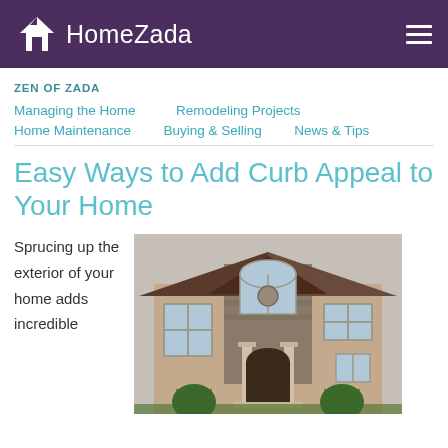HomeZada
ZEN OF ZADA
Managing the Home   Remodeling Projects   Home Maintenance   Buying & Selling   News & Tips
Easy Ways to Add Curb Appeal to Your Home
Sprucing up the exterior of your home adds incredible
[Figure (photo): Large two-story house with stone and stucco exterior, arched windows, and grand entrance with columns]